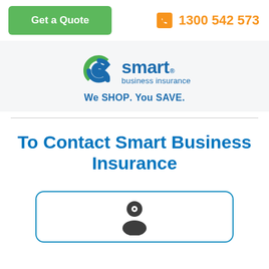Get a Quote | 1300 542 573
[Figure (logo): Smart Business Insurance logo with swirl S icon and text 'smart business insurance' and tagline 'We SHOP. You SAVE.']
To Contact Smart Business Insurance
[Figure (illustration): Person/contact icon inside a rounded blue-bordered card at the bottom of the page]